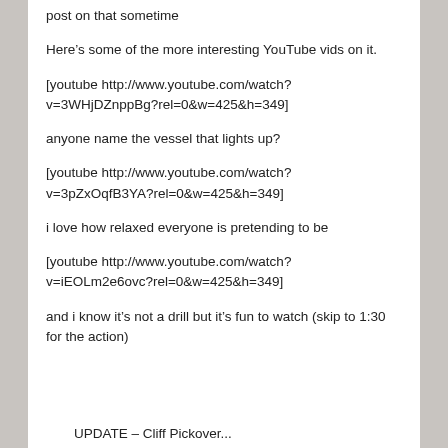post on that sometime
Here’s some of the more interesting YouTube vids on it.
[youtube http://www.youtube.com/watch?v=3WHjDZnppBg?rel=0&w=425&h=349]
anyone name the vessel that lights up?
[youtube http://www.youtube.com/watch?v=3pZxOqfB3YA?rel=0&w=425&h=349]
i love how relaxed everyone is pretending to be
[youtube http://www.youtube.com/watch?v=iEOLm2e6ovc?rel=0&w=425&h=349]
and i know it’s not a drill but it’s fun to watch (skip to 1:30 for the action)
UPDATE – Cliff Pickover...